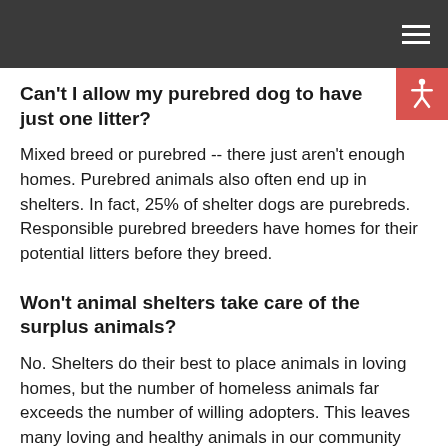Can't I allow my purebred dog to have just one litter?
Mixed breed or purebred -- there just aren't enough homes. Purebred animals also often end up in shelters. In fact, 25% of shelter dogs are purebreds. Responsible purebred breeders have homes for their potential litters before they breed.
Won't animal shelters take care of the surplus animals?
No. Shelters do their best to place animals in loving homes, but the number of homeless animals far exceeds the number of willing adopters. This leaves many loving and healthy animals in our community that must be euthanized as the only humane solution to this